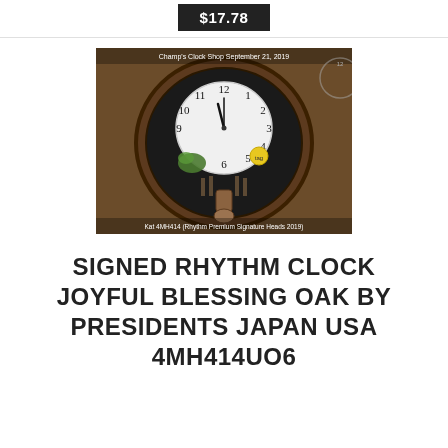$17.78
[Figure (photo): Photo of a signed Rhythm clock with Joyful Blessing Oak design, oval wooden frame, white clock face with Roman/Arabic numerals, pendulum, decorative elements. Text overlay at top reads 'Champ's Clock Shop September 21, 2019'. Text at bottom reads 'Kat 4MH414 (Rhythm Premium Signature Heads 2019)'.]
SIGNED RHYTHM CLOCK JOYFUL BLESSING OAK BY PRESIDENTS JAPAN USA 4MH414UO6